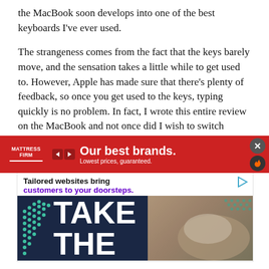the MacBook soon develops into one of the best keyboards I've ever used.
The strangeness comes from the fact that the keys barely move, and the sensation takes a little while to get used to. However, Apple has made sure that there's plenty of feedback, so once you get used to the keys, typing quickly is no problem. In fact, I wrote this entire review on the MacBook and not once did I wish to switch keyboards. Throw in individual LED lighting for each key and Apple really has thought of everything.
[Figure (screenshot): Advertisement banner: 'Tailored websites bring customers to your doorsteps.' with large bold text 'TAKE THE' and a teal/dark arrow logo on left, photo of person typing on laptop on right. Dark navy background.]
[Figure (screenshot): Bottom advertisement bar for Mattress Firm: red background with 'Our best brands. Lowest prices, guaranteed.' text in white, Mattress Firm logo on left, close and flame icon buttons on right.]